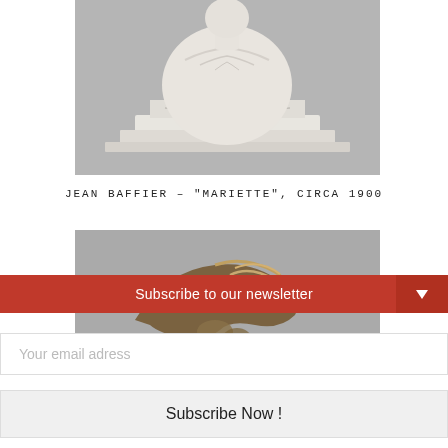[Figure (photo): Marble bust sculpture of a woman on a decorative pedestal, white marble, photographed against a gray background]
JEAN BAFFIER – "MARIETTE", CIRCA 1900
[Figure (photo): Bronze sculpture of a curved abstract or animal form, dark bronze with metallic highlights, photographed against a gray background]
Subscribe to our newsletter
Your email adress
Subscribe Now !